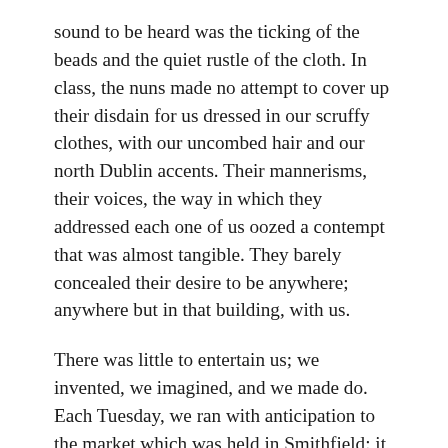sound to be heard was the ticking of the beads and the quiet rustle of the cloth. In class, the nuns made no attempt to cover up their disdain for us dressed in our scruffy clothes, with our uncombed hair and our north Dublin accents. Their mannerisms, their voices, the way in which they addressed each one of us oozed a contempt that was almost tangible. They barely concealed their desire to be anywhere; anywhere but in that building, with us.
There was little to entertain us; we invented, we imagined, and we made do. Each Tuesday, we ran with anticipation to the market which was held in Smithfield; it was a huge square paved with cobblestones where horses and sheep and hay were bought, sold, and traded. Men spit into their hands, and, with a handshake, agreed upon a price. The noise of the animals, the pungent smell of manure, and the sight of the traders from out in the country were